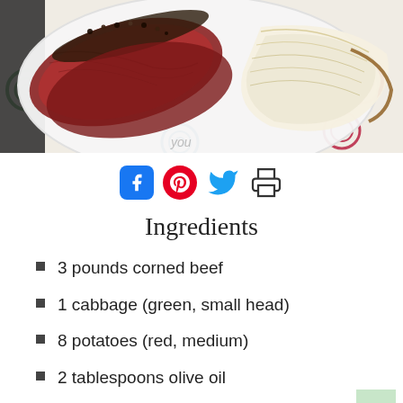[Figure (photo): Sliced corned beef with grilled cabbage on a white plate with a decorative spiral placemat]
[Figure (infographic): Social share icons: Facebook, Pinterest, Twitter, Print]
Ingredients
3 pounds corned beef
1 cabbage (green, small head)
8 potatoes (red, medium)
2 tablespoons olive oil
1/2 teaspoon coriander